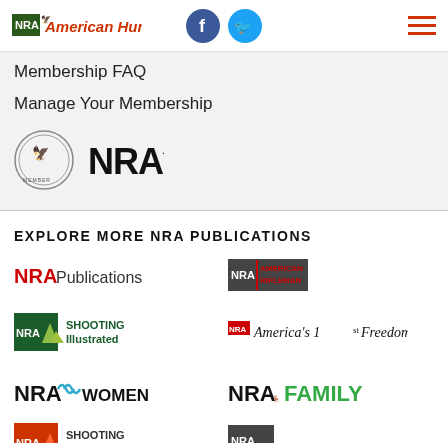NRA American Hunter
Membership FAQ
Manage Your Membership
[Figure (logo): NRA Member seal logo and NRA wordmark logo]
EXPLORE MORE NRA PUBLICATIONS
[Figure (logo): NRA Publications logo]
[Figure (logo): NRA American Rifleman logo]
[Figure (logo): NRA Shooting Illustrated logo]
[Figure (logo): NRA Americas 1st Freedom logo]
[Figure (logo): NRA Women logo]
[Figure (logo): NRA Family logo]
[Figure (logo): Partially visible logos at bottom (cut off)]